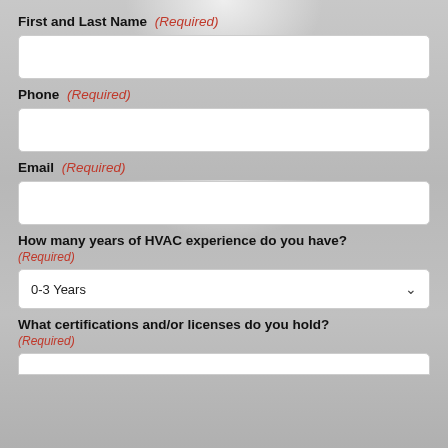First and Last Name (Required)
[Figure (other): Empty text input field for First and Last Name]
Phone (Required)
[Figure (other): Empty text input field for Phone]
Email (Required)
[Figure (other): Empty text input field for Email]
How many years of HVAC experience do you have? (Required)
[Figure (other): Dropdown select field showing '0-3 Years' with chevron]
What certifications and/or licenses do you hold? (Required)
[Figure (other): Partially visible text input field at bottom of page]